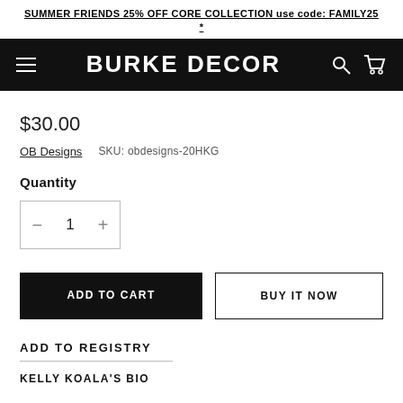SUMMER FRIENDS 25% OFF CORE COLLECTION use code: FAMILY25 *
[Figure (screenshot): Burke Decor navigation bar with hamburger menu, logo, search and cart icons on black background]
$30.00
OB Designs   SKU: obdesigns-20HKG
Quantity
[Figure (other): Quantity selector box with minus button, value 1, and plus button]
ADD TO CART
BUY IT NOW
ADD TO REGISTRY
KELLY KOALA'S BIO